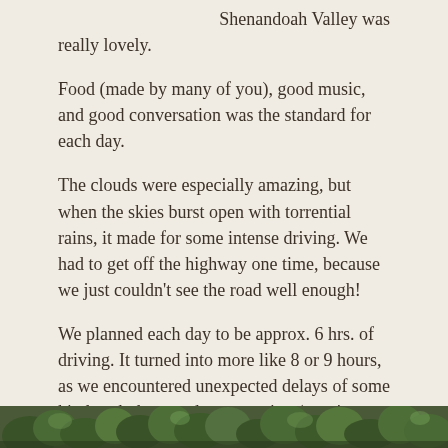Shenandoah Valley was really lovely.
Food (made by many of you), good music, and good conversation was the standard for each day.
The clouds were especially amazing, but when the skies burst open with torrential rains, it made for some intense driving. We had to get off the highway one time, because we just couldn't see the road well enough!
We planned each day to be approx. 6 hrs. of driving. It turned into more like 8 or 9 hours, as we encountered unexpected delays of some kind each day: road construction (esp. in Connecticut), a couple of wrong turns, accidents (not involving us), and the above-mentioned torrential rainstorms. Stopping for lunch took at least an hour, but I must say that all of our meals were outstanding!
[Figure (photo): Partial view of a photo showing trees and foliage, appearing at the bottom of the page.]